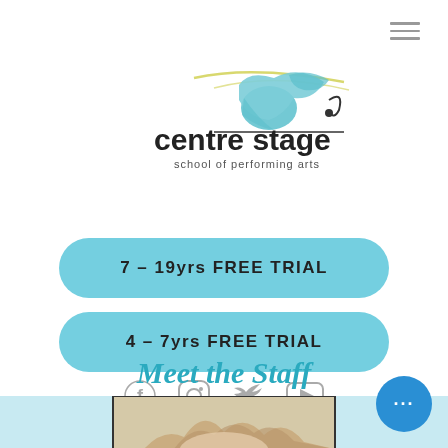[Figure (logo): Centre Stage School of Performing Arts logo with stylized dancer/figures in teal and yellow, text 'centre stage school of performing arts']
7 – 19yrs FREE TRIAL
4 – 7yrs FREE TRIAL
[Figure (infographic): Social media icons: Facebook, Instagram, Twitter, YouTube — all in grey]
Meet the Staff
[Figure (photo): Partial photo of a staff member with blonde/light hair, shown from the top of the head, with a light blue background strip]